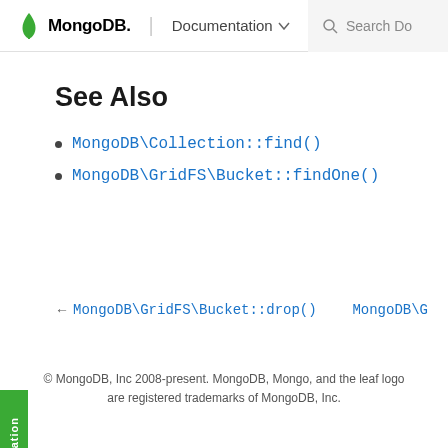MongoDB. | Documentation  Search Do
See Also
MongoDB\Collection::find()
MongoDB\GridFS\Bucket::findOne()
← MongoDB\GridFS\Bucket::drop()   MongoDB\G
© MongoDB, Inc 2008-present. MongoDB, Mongo, and the leaf logo are registered trademarks of MongoDB, Inc.